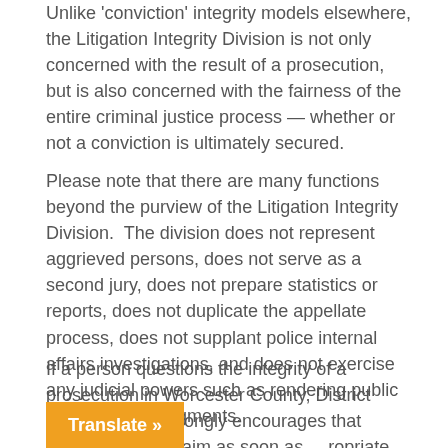Unlike 'conviction integrity models elsewhere, the Litigation Integrity Division is not only concerned with the result of a prosecution, but is also concerned with the fairness of the entire criminal justice process — whether or not a conviction is ultimately secured.
Please note that there are many functions beyond the purview of the Litigation Integrity Division.  The division does not represent aggrieved persons, does not serve as a second jury, does not prepare statistics or reports, does not duplicate the appellate process, does not supplant police internal affairs investigations, and does not exercise any judicial powers such as rendering public opinions and judgments.
If a person questions the integrity of a prosecution in Worcester County, District Attorney Early strongly encourages that person to file a claim as soon as [appropriate state or federal court or